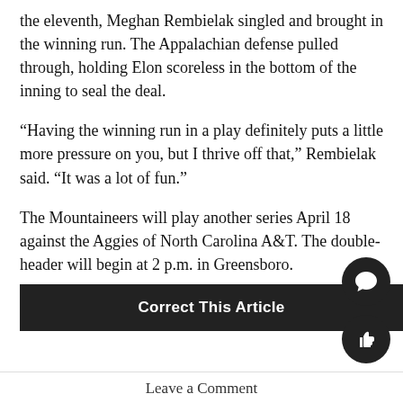the eleventh, Meghan Rembielak singled and brought in the winning run. The Appalachian defense pulled through, holding Elon scoreless in the bottom of the inning to seal the deal.
“Having the winning run in a play definitely puts a little more pressure on you, but I thrive off that,” Rembielak said. “It was a lot of fun.”
The Mountaineers will play another series April 18 against the Aggies of North Carolina A&T. The double-header will begin at 2 p.m. in Greensboro.
Story: ETHAN JOYCE, Intern Sports Reporter
Correct This Article
Leave a Comment